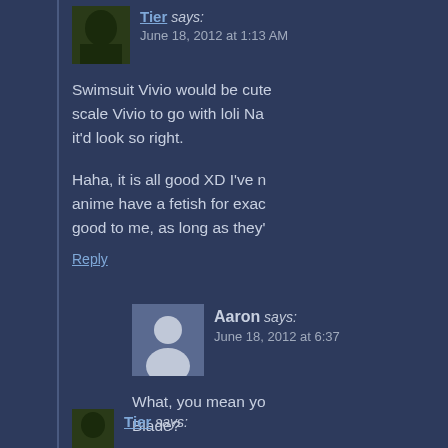Tier says: June 18, 2012 at 1:13 AM
Swimsuit Vivio would be cute scale Vivio to go with loli Na it'd look so right.
Haha, it is all good XD I've n anime have a fetish for exac good to me, as long as they'
Reply
Aaron says: June 18, 2012 at 6:37
What, you mean yo Blade?
Tier says: